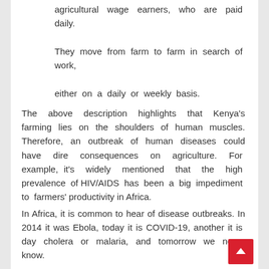agricultural wage earners, who are paid daily. They move from farm to farm in search of work, either on a daily or weekly basis.
The above description highlights that Kenya's farming lies on the shoulders of human muscles. Therefore, an outbreak of human diseases could have dire consequences on agriculture. For example, it's widely mentioned that the high prevalence of HIV/AIDS has been a big impediment to farmers' productivity in Africa.
In Africa, it is common to hear of disease outbreaks. In 2014 it was Ebola, today it is COVID-19, another it is day cholera or malaria, and tomorrow we never know.
Why farm mechanization in Africa is indispensable in the post-COVID-19 era